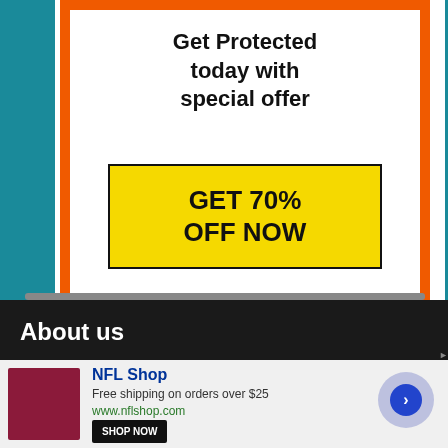[Figure (infographic): Advertisement box with orange border containing headline 'Get Protected today with special offer' and yellow CTA button 'GET 70% OFF NOW']
About us
We are a community of technology enthusiasts who believe that technology should be available to all and an effort should be made
[Figure (infographic): Bottom ad banner for NFL Shop showing red product image, 'NFL Shop' brand, 'Free shipping on orders over $25', 'www.nflshop.com', and SHOP NOW button]
NFL Shop
Free shipping on orders over $25
www.nflshop.com